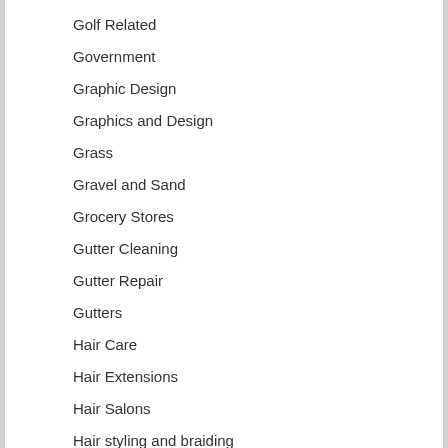Golf Related
Government
Graphic Design
Graphics and Design
Grass
Gravel and Sand
Grocery Stores
Gutter Cleaning
Gutter Repair
Gutters
Hair Care
Hair Extensions
Hair Salons
Hair styling and braiding
Handymen